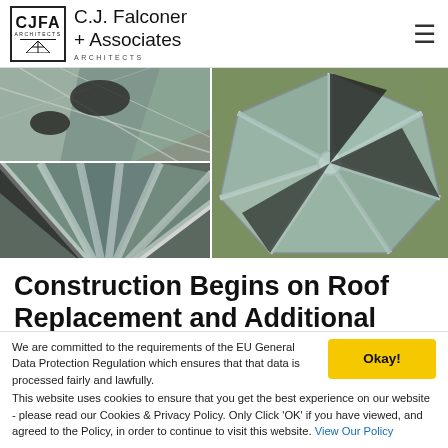C.J. Falconer + Associates ARCHITECTS
[Figure (photo): Three aerial/drone photos of a glass roof structure under construction: top-left shows glass panels and steel cables close-up, bottom-left shows white structural ribs of the roof from below, right shows full aerial view of octagonal glass dome roof]
Construction Begins on Roof Replacement and Additional Works,
We are committed to the requirements of the EU General Data Protection Regulation which ensures that that data is processed fairly and lawfully. This website uses cookies to ensure that you get the best experience on our website - please read our Cookies & Privacy Policy. Only Click 'OK' if you have viewed, and agreed to the Policy, in order to continue to visit this website. View Our Policy